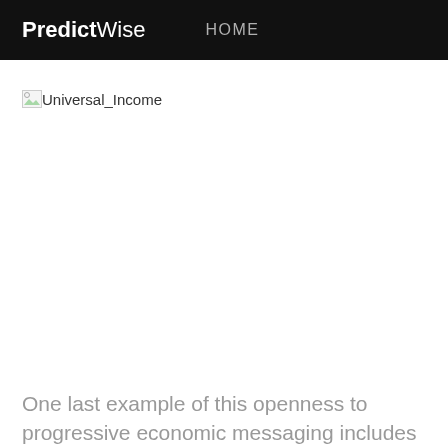PredictWise  HOME
[Figure (other): Broken image placeholder labeled Universal_Income]
One last example of this openness to progressive economic messaging includes